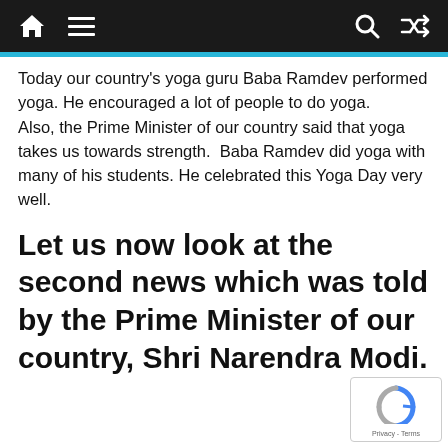Navigation bar with home, menu, search, and shuffle icons
Today our country's yoga guru Baba Ramdev performed yoga. He encouraged a lot of people to do yoga.
Also, the Prime Minister of our country said that yoga takes us towards strength.  Baba Ramdev did yoga with many of his students. He celebrated this Yoga Day very well.
Let us now look at the second news which was told by the Prime Minister of our country, Shri Narendra Modi.